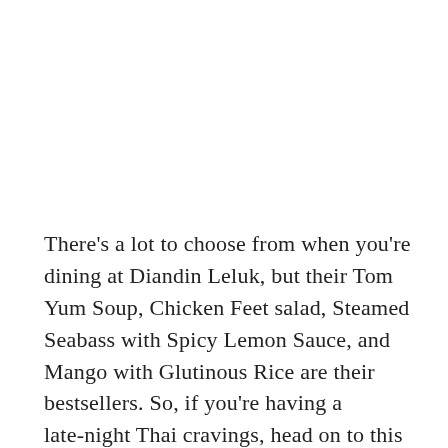There's a lot to choose from when you're dining at Diandin Leluk, but their Tom Yum Soup, Chicken Feet salad, Steamed Seabass with Spicy Lemon Sauce, and Mango with Glutinous Rice are their bestsellers. So, if you're having a late-night Thai cravings, head on to this restaurant located at Singapore's Little Thailand.